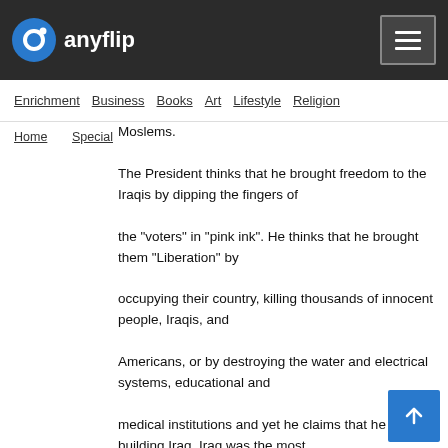anyflip
Enrichment  Business  Books  Art  Lifestyle  Religion
Home  Special
Moslems. The President thinks that he brought freedom to the Iraqis by dipping the fingers of the "voters" in "pink ink". He thinks that he brought them "Liberation" by occupying their country, killing thousands of innocent people, Iraqis, and Americans, or by destroying the water and electrical systems, educational and medical institutions and yet he claims that he is building Iraq. Iraq was the most advanced country in the "Middle East" that Washington has destroyed and still is destroying. As a Christian Arab who was born and reared in Palestine, and nourished with